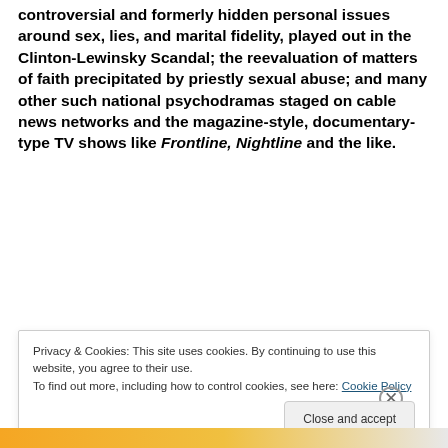controversial and formerly hidden personal issues around sex, lies, and marital fidelity, played out in the Clinton-Lewinsky Scandal; the reevaluation of matters of faith precipitated by priestly sexual abuse; and many other such national psychodramas staged on cable news networks and the magazine-style, documentary-type TV shows like Frontline, Nightline and the like.
[Figure (infographic): Advertisement banner with text 'and a better world.' and an Apply button, with a circular photo of a person thinking]
Privacy & Cookies: This site uses cookies. By continuing to use this website, you agree to their use.
To find out more, including how to control cookies, see here: Cookie Policy